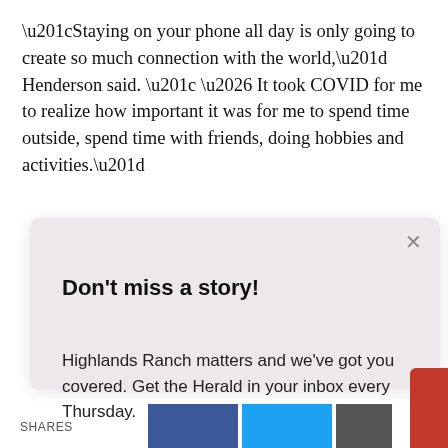“Staying on your phone all day is only going to create so much connection with the world,” Henderson said. “ … It took COVID for me to realize how important it was for me to spend time outside, spend time with friends, doing hobbies and activities.”
[Figure (screenshot): Newsletter signup modal with title 'Don’t miss a story!', body text about Highlands Ranch Herald, email input field, and Sign up button]
SHARES